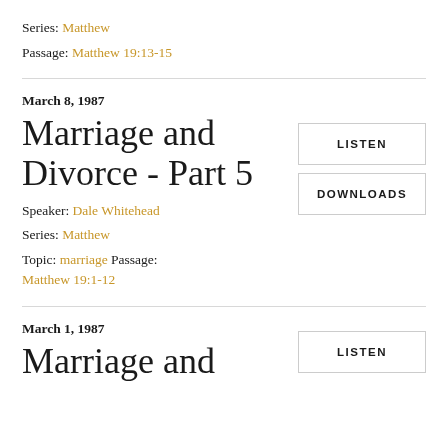Series: Matthew
Passage: Matthew 19:13-15
March 8, 1987
Marriage and Divorce - Part 5
Speaker: Dale Whitehead
Series: Matthew
Topic: marriage Passage: Matthew 19:1-12
March 1, 1987
Marriage and